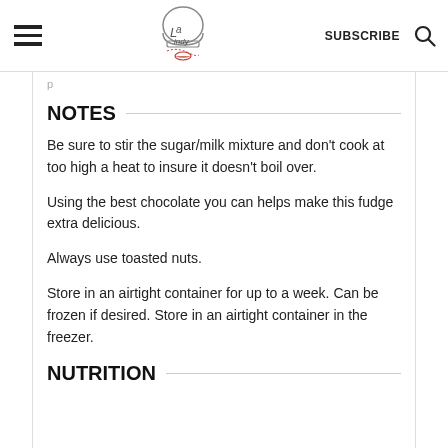La Lindy | SUBSCRIBE
NOTES
Be sure to stir the sugar/milk mixture and don't cook at too high a heat to insure it doesn't boil over.
Using the best chocolate you can helps make this fudge extra delicious.
Always use toasted nuts.
Store in an airtight container for up to a week. Can be frozen if desired. Store in an airtight container in the freezer.
NUTRITION